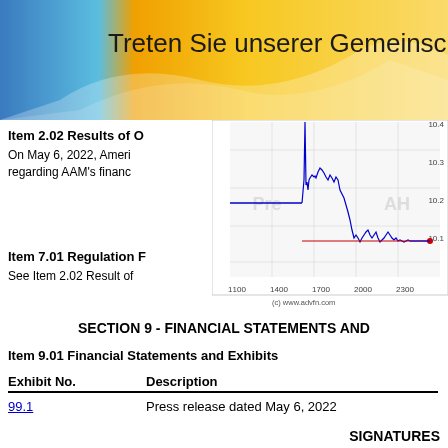[Figure (other): Banner with gradient background (blue and yellow/gold) and German text 'Treten Sie unserer Gemeinschaft' (Join our community). Blue triangle on left, gold/white wave pattern on right.]
Item 2.02 Results of O
On May 6, 2022, Ameri regarding AAM's financ
[Figure (continuous-plot): Stock price chart from www.advfn.com showing intraday price movement. X-axis shows times from 1100 to 2300+. Y-axis shows price from approximately 10.1 to 10.4. Blue line shows price, with Pre and AH market zones labeled. Red horizontal line at 10.1. Price spikes then declines during regular trading hours.]
Item 7.01 Regulation F
See Item 2.02 Result of
SECTION 9 - FINANCIAL STATEMENTS AND
Item 9.01 Financial Statements and Exhibits
| Exhibit No. | Description |
| --- | --- |
| 99.1 | Press release dated May 6, 2022 |
SIGNATURES